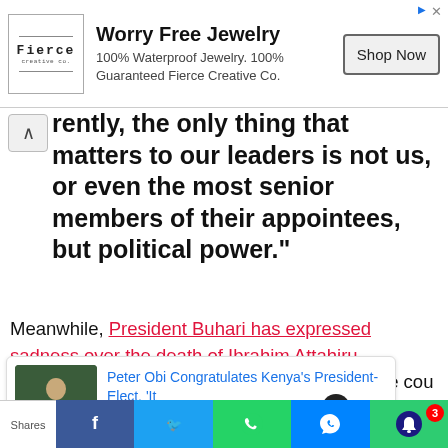[Figure (screenshot): Advertisement banner for Worry Free Jewelry by Fierce Creative Co. with a Shop Now button.]
Apparently, the only thing that matters to our leaders is not us, or even the most senior members of their appointees, but political power."
Meanwhile, President Buhari has expressed sadness over the death of Ibrahim Attahiru, describing the incident as a “mortal blow” to the country.
[Figure (screenshot): Related article card: Peter Obi Congratulates Kenya's President-Elect, 'It — 6 hours ago, with thumbnail photo of speaker at podium.]
[Figure (screenshot): Bottom social sharing bar with Shares label, Facebook, Twitter, WhatsApp, Messenger, and notification bell (badge: 3) buttons.]